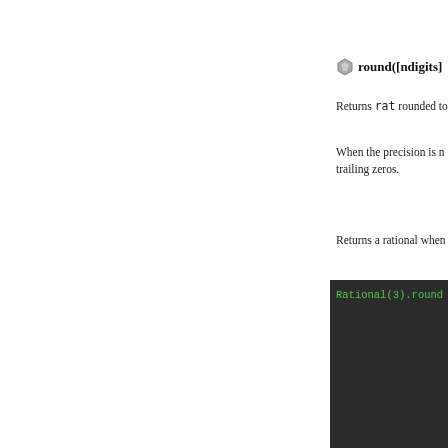[Figure (screenshot): Dark code block showing: r.rationalize(Ratio...]
round([ndigits])
Returns rat rounded to...
When the precision is n... trailing zeros.
Returns a rational when...
[Figure (screenshot): Dark code block showing: Rational(3).round, Rational(2, 3).roun, Rational(-3, 2).rou, # decimal, #, # precision, Rational('-123.456...]